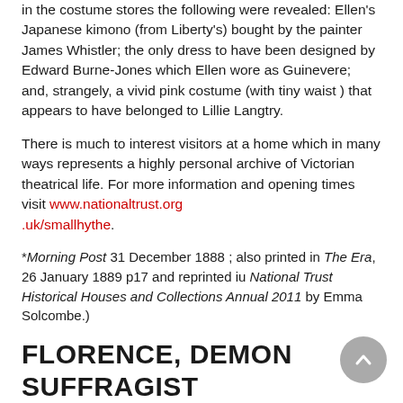in the costume stores the following were revealed: Ellen's Japanese kimono (from Liberty's) bought by the painter James Whistler; the only dress to have been designed by Edward Burne-Jones which Ellen wore as Guinevere; and, strangely, a vivid pink costume (with tiny waist ) that appears to have belonged to Lillie Langtry.
There is much to interest visitors at a home which in many ways represents a highly personal archive of Victorian theatrical life. For more information and opening times visit www.nationaltrust.org.uk/smallhythe.
*Morning Post 31 December 1888 ; also printed in The Era, 26 January 1889 p17 and reprinted iu National Trust Historical Houses and Collections Annual 2011 by Emma Solcombe.)
FLORENCE, DEMON SUFFRAGIST